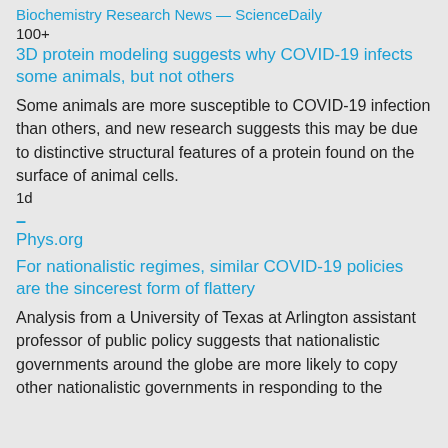Biochemistry Research News — ScienceDaily
100+
3D protein modeling suggests why COVID-19 infects some animals, but not others
Some animals are more susceptible to COVID-19 infection than others, and new research suggests this may be due to distinctive structural features of a protein found on the surface of animal cells.
1d
–
Phys.org
For nationalistic regimes, similar COVID-19 policies are the sincerest form of flattery
Analysis from a University of Texas at Arlington assistant professor of public policy suggests that nationalistic governments around the globe are more likely to copy other nationalistic governments in responding to the